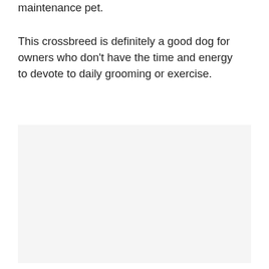maintenance pet.
This crossbreed is definitely a good dog for owners who don't have the time and energy to devote to daily grooming or exercise.
[Figure (photo): A light gray/white placeholder image area, likely a photo of a dog breed.]